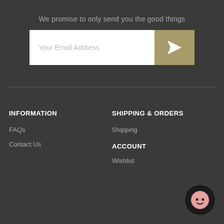We promise to only send you the good things
[Figure (other): Email subscription input field with white background and placeholder text 'Your Email Address', next to a tan/gold colored submit button with a paper airplane send icon]
INFORMATION
SHIPPING & ORDERS
FAQs
Shipping
Contact Us
ACCOUNT
Wishlist
[Figure (illustration): Dark circular chat bubble widget with a pink smiley face icon in the bottom right corner]